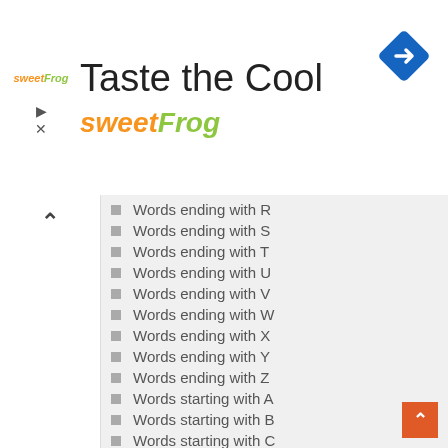[Figure (logo): sweetFrog advertisement banner with logo, title 'Taste the Cool', brand name 'sweetFrog', navigation/direction icon top right]
Words ending with R
Words ending with S
Words ending with T
Words ending with U
Words ending with V
Words ending with W
Words ending with X
Words ending with Y
Words ending with Z
Words starting with A
Words starting with B
Words starting with C
Words starting with D